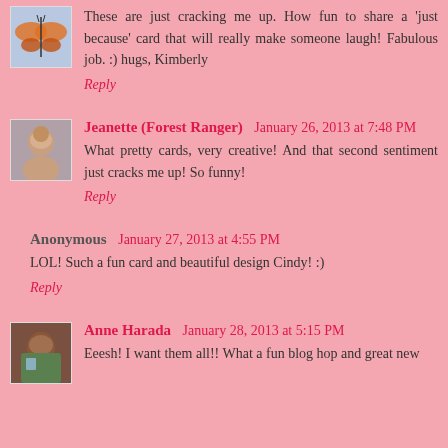These are just cracking me up. How fun to share a 'just because' card that will really make someone laugh! Fabulous job. :) hugs, Kimberly
Reply
Jeanette (Forest Ranger)  January 26, 2013 at 7:48 PM
What pretty cards, very creative! And that second sentiment just cracks me up! So funny!
Reply
Anonymous  January 27, 2013 at 4:55 PM
LOL! Such a fun card and beautiful design Cindy! :)
Reply
Anne Harada  January 28, 2013 at 5:15 PM
Eeesh! I want them all!! What a fun blog hop and great new